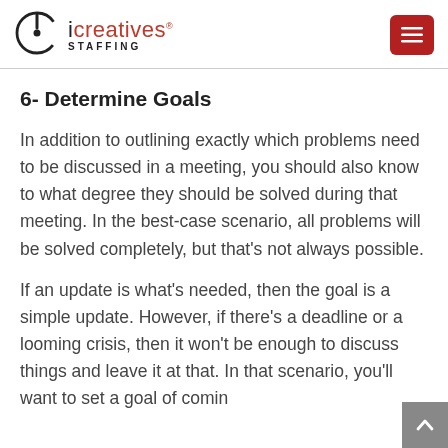iCreatives Staffing
6- Determine Goals
In addition to outlining exactly which problems need to be discussed in a meeting, you should also know to what degree they should be solved during that meeting. In the best-case scenario, all problems will be solved completely, but that’s not always possible.
If an update is what’s needed, then the goal is a simple update. However, if there’s a deadline or a looming crisis, then it won’t be enough to discuss things and leave it at that. In that scenario, you’ll want to set a goal of comin…